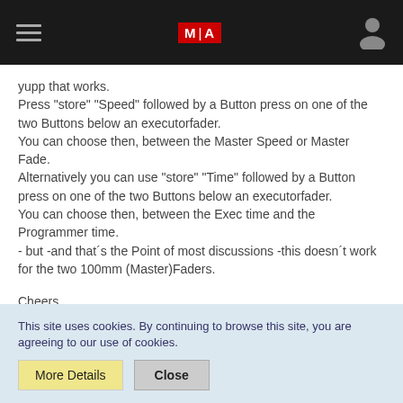MA (logo navigation bar)
yupp that works.
Press "store" "Speed" followed by a Button press on one of the two Buttons below an executorfader.
You can choose then, between the Master Speed or Master Fade.
Alternatively you can use "store" "Time" followed by a Button press on one of the two Buttons below an executorfader.
You can choose then, between the Exec time and the Programmer time.
- but -and that´s the Point of most discussions -this doesn´t work for the two 100mm (Master)Faders.

Cheers,
Qincy
This site uses cookies. By continuing to browse this site, you are agreeing to our use of cookies.